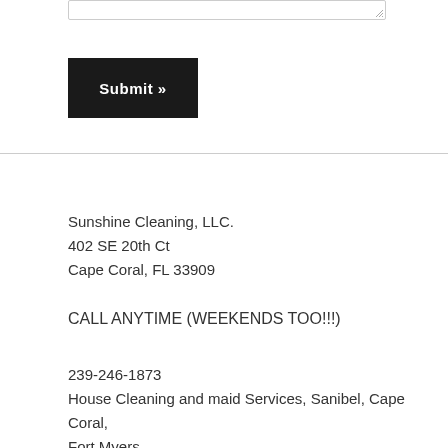[Figure (screenshot): Textarea input box with resize handle in bottom-right corner]
Submit »
Sunshine Cleaning, LLC.
402 SE 20th Ct
Cape Coral, FL 33909
CALL ANYTIME (WEEKENDS TOO!!!)
239-246-1873
House Cleaning and maid Services, Sanibel, Cape Coral, Fort Myers